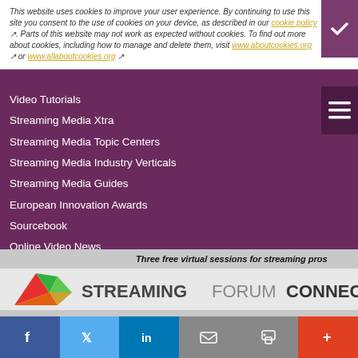This website uses cookies to improve your user experience. By continuing to use this site you consent to the use of cookies on your device, as described in our cookie policy. Parts of this website may not work as expected without cookies. To find out more about cookies, including how to manage and delete them, visit www.aboutcookies.org or www.allaboutcookies.org
Video Tutorials
Streaming Media Xtra
Streaming Media Topic Centers
Streaming Media Industry Verticals
Streaming Media Guides
European Innovation Awards
Sourcebook
Online Video News
Spotlights
About StreamingMedia.com
Contact Us
Other ITI Sites
Streaming Media U.S. Site
Streaming Media Producer
Database Trends and Applications
Three free virtual sessions for streaming pros
[Figure (logo): Streaming Forum Connect logo with colorful geometric bird/arrow shape]